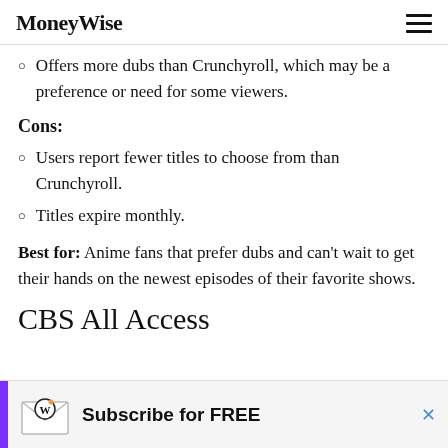MoneyWise
Offers more dubs than Crunchyroll, which may be a preference or need for some viewers.
Cons:
Users report fewer titles to choose from than Crunchyroll.
Titles expire monthly.
Best for: Anime fans that prefer dubs and can't wait to get their hands on the newest episodes of their favorite shows.
CBS All Access
[Figure (infographic): Advertisement banner: purple stripe on left, envelope icon with W letter, text 'Subscribe for FREE', close button X]